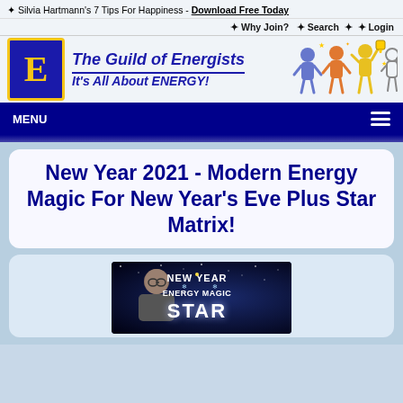✦ Silvia Hartmann's 7 Tips For Happiness - Download Free Today
✦ Why Join?  ✦ Search  ✦  ✦ Login
[Figure (logo): The Guild of Energists logo with large E on blue/gold square, tagline: It's All About ENERGY!, and cartoon energy figures on right]
MENU
New Year 2021 - Modern Energy Magic For New Year's Eve Plus Star Matrix!
[Figure (photo): New Year Energy Magic Star Matrix promotional image with woman in glasses against starry dark background, text reads NEW YEAR ENERGY MAGIC STAR]